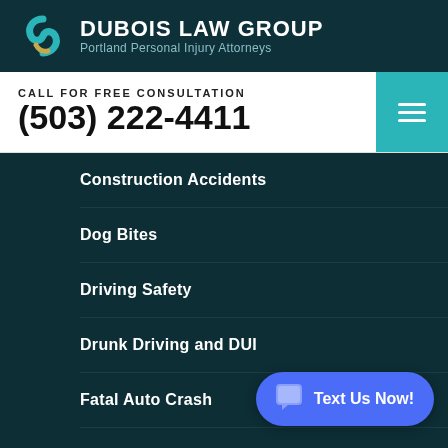[Figure (logo): Dubois Law Group logo with stylized S-shape in teal and gold colors]
DUBOIS LAW GROUP
Portland Personal Injury Attorneys
CALL FOR FREE CONSULTATION
(503) 222-4411
Construction Accidents
Dog Bites
Driving Safety
Drunk Driving and DUI
Fatal Auto Crash
Firm News
Funeral Home Abuse
Hit and Run Auto Accident